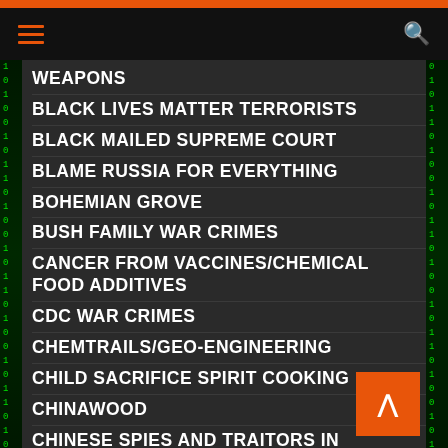Navigation header with hamburger menu and search icon
WEAPONS
BLACK LIVES MATTER TERRORISTS
BLACK MAILED SUPREME COURT
BLAME RUSSIA FOR EVERYTHING
BOHEMIAN GROVE
BUSH FAMILY WAR CRIMES
CANCER FROM VACCINES/CHEMICAL FOOD ADDITIVES
CDC WAR CRIMES
CHEMTRAILS/GEO-ENGINEERING
CHILD SACRIFICE SPIRIT COOKING
CHINAWOOD
CHINESE SPIES AND TRAITORS IN AMERICA
CIA DEEP STATE
CLINTON FAMILY MURDERS AND TREASON